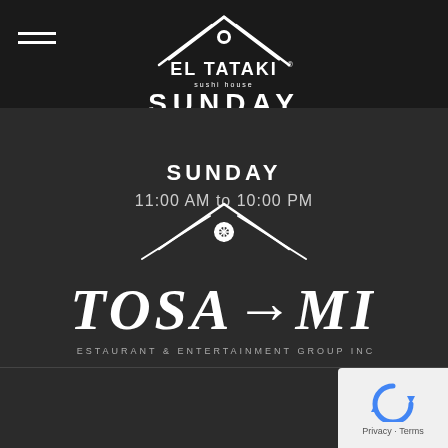[Figure (logo): El Tataki Sushi restaurant logo with crossed chopsticks forming a roof shape above the text El Tataki, white on dark background]
SUNDAY
SUNDAY
11:00 AM to 10:00 PM
[Figure (logo): Tosami Restaurant & Entertainment Group Inc. logo with brushstroke lettering and a roof/tent shape above, white on dark background]
[Figure (other): Google reCAPTCHA widget showing a circular arrow icon, with Privacy and Terms links below]